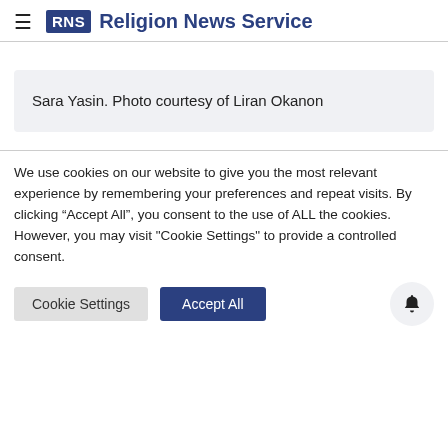RNS Religion News Service
Sara Yasin. Photo courtesy of Liran Okanon
We use cookies on our website to give you the most relevant experience by remembering your preferences and repeat visits. By clicking “Accept All”, you consent to the use of ALL the cookies. However, you may visit "Cookie Settings" to provide a controlled consent.